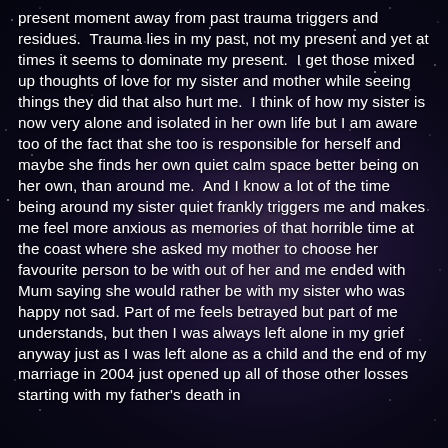present moment away from past trauma triggers and residues.  Trauma lies in my past, not my present and yet at times it seems to dominate my present.  I get those mixed up thoughts of love for my sister and mother while seeing things they did that also hurt me.  I think of how my sister is now very alone and isolated in her own life but I am aware too of the fact that she too is responsible for herself and maybe she finds her own quiet calm space better being on her own, than around me.  And I know a lot of the time being around my sister quiet frankly triggers me and makes me feel more anxious as memories of that horrible time at the coast where she asked my mother to choose her favourite person to be with out of her and me ended with Mum saying she would rather be with my sister who was happy not sad. Part of me feels betrayed but part of me understands, but then I was always left alone in my grief anyway just as I was left alone as a child and the end of my marriage in 2004 just opened up all of those other losses starting with my father's death in